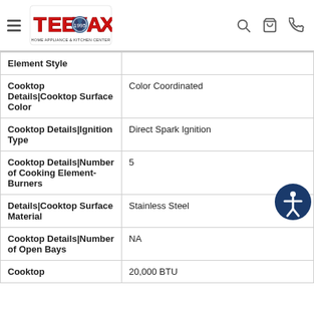TeeVax Home Appliance & Kitchen Center
| Attribute | Value |
| --- | --- |
| Element Style |  |
| Cooktop Details|Cooktop Surface Color | Color Coordinated |
| Cooktop Details|Ignition Type | Direct Spark Ignition |
| Cooktop Details|Number of Cooking Element-Burners | 5 |
| Details|Cooktop Surface Material | Stainless Steel |
| Cooktop Details|Number of Open Bays | NA |
| Cooktop | 20,000 BTU |